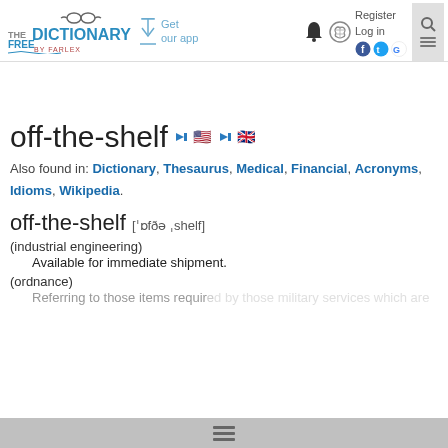The Free Dictionary by Farlex — Get our app — Register — Log in
off-the-shelf
Also found in: Dictionary, Thesaurus, Medical, Financial, Acronyms, Idioms, Wikipedia.
off-the-shelf  [ˈɒfðə ˌshelf]
(industrial engineering)
Available for immediate shipment.
(ordnance)
Referring to those items required by military services which are